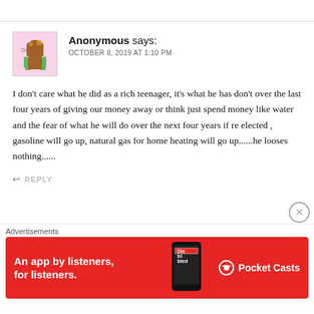Anonymous says:
OCTOBER 8, 2019 AT 1:10 PM
I don't care what he did as a rich teenager, it's what he has don't over the last four years of giving our money away or think just spend money like water and the fear of what he will do over the next four years if re elected , gasoline will go up, natural gas for home heating will go up......he looses nothing......
↩ REPLY
Liberal Progressive says:
Advertisements
An app by listeners, for listeners.  Pocket Casts